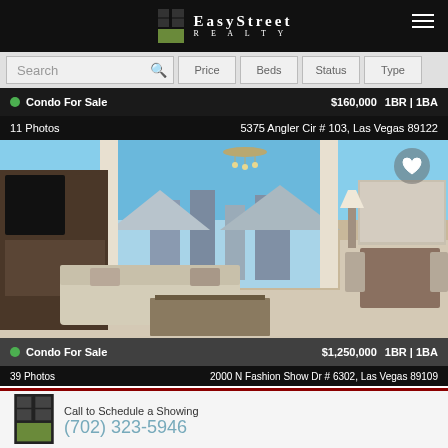EasyStreet Realty
Search | Price | Beds | Status | Type
● Condo For Sale   $160,000   1BR | 1BA
11 Photos   5375 Angler Cir # 103, Las Vegas 89122
[Figure (photo): Interior photo of a luxury high-rise condo in Las Vegas showing living room and dining area with large floor-to-ceiling windows overlooking the Las Vegas skyline]
● Condo For Sale   $1,250,000   1BR | 1BA
39 Photos   2000 N Fashion Show Dr # 6302, Las Vegas 89109
Call to Schedule a Showing
(702) 323-5946